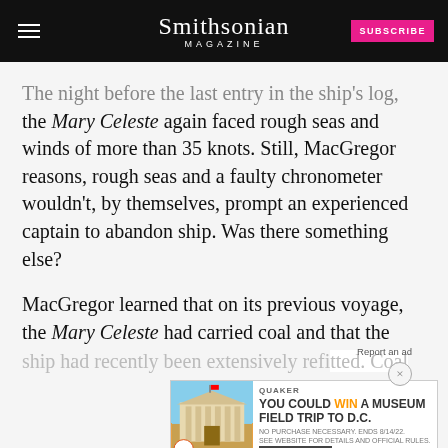Smithsonian MAGAZINE
The night before the last entry in the ship's log, the Mary Celeste again faced rough seas and winds of more than 35 knots. Still, MacGregor reasons, rough seas and a faulty chronometer wouldn't, by themselves, prompt an experienced captain to abandon ship. Was there something else?
MacGregor learned that on its previous voyage, the Mary Celeste had carried coal and that the ship had recently been extensively refitted. Coal dust could have collected in the hold and clogged the ship's pumps, which would explain the